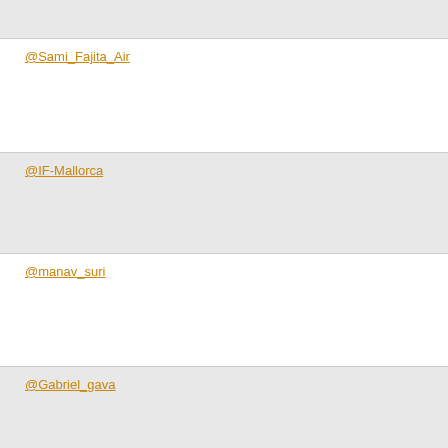@Sami_Fajita_Air
@IF-Mallorca
@manav_suri
@Gabriel_gava